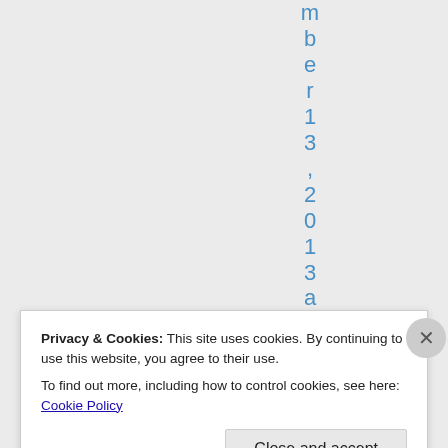m b e r 1 3 , 2 0 1 3 a t
Privacy & Cookies: This site uses cookies. By continuing to use this website, you agree to their use.
To find out more, including how to control cookies, see here: Cookie Policy
Close and accept